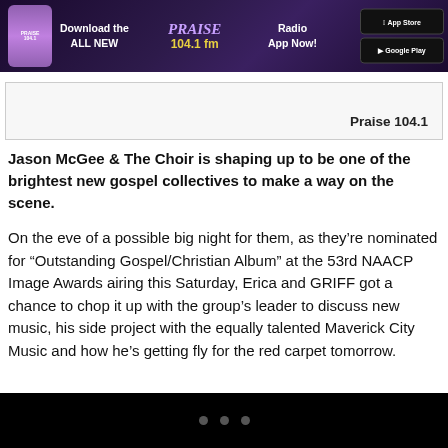[Figure (other): Banner advertisement for Praise 104.1 FM radio app showing phone graphic, 'Download the ALL NEW' text, Praise 104.1 fm logo, 'Radio App Now!' text, and App Store / Google Play buttons]
Praise 104.1
Jason McGee & The Choir is shaping up to be one of the brightest new gospel collectives to make a way on the scene.
On the eve of a possible big night for them, as they’re nominated for “Outstanding Gospel/Christian Album” at the 53rd NAACP Image Awards airing this Saturday, Erica and GRIFF got a chance to chop it up with the group’s leader to discuss new music, his side project with the equally talented Maverick City Music and how he’s getting fly for the red carpet tomorrow.